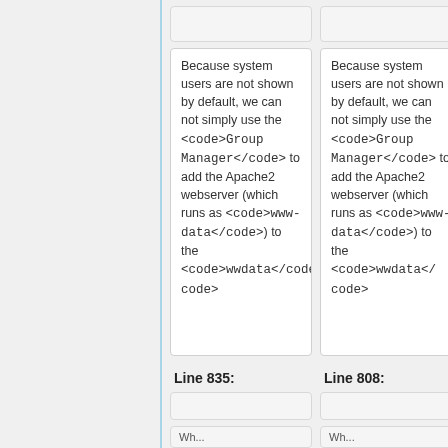| Left cell | Right cell |
| --- | --- |
| Because system users are not shown by default, we can not simply use the <code>Group Manager</code> to add the Apache2 webserver (which runs as <code>www-data</code>) to the <code>wwdata</code> | Because system users are not shown by default, we can not simply use the <code>Group Manager</code> to add the Apache2 webserver (which runs as <code>www-data</code>) to the <code>wwdata</code> |
Line 835:
Line 808: